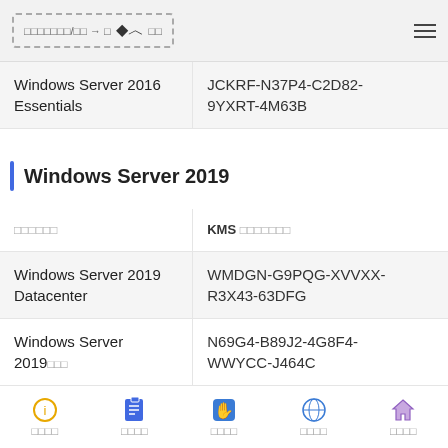xxxxxxx/xx → x  ↕ xx
| オペレーティングシステム | KMS クライアントセットアップキー |
| --- | --- |
| Windows Server 2016 Essentials | JCKRF-N37P4-C2D82-9YXRT-4M63B |
Windows Server 2019
| オペレーティングシステム | KMS クライアントセットアップキー |
| --- | --- |
| Windows Server 2019 Datacenter | WMDGN-G9PQG-XVVXX-R3X43-63DFG |
| Windows Server 2019xxx | N69G4-B89J2-4G8F4-WWYCC-J464C |
xxxx  xxxx  xxxx  xxxx  xxxx